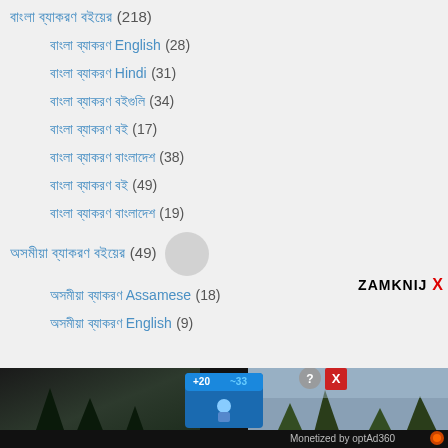বাংলা ব্যাকরণ বইয়ের (218)
বাংলা ব্যাকরণ English (28)
বাংলা ব্যাকরণ Hindi (31)
বাংলা ব্যাকরণ বইগুলি (34)
বাংলা ব্যাকরণ বই (17)
বাংলা ব্যাকরণ বাংলাদেশ (38)
বাংলা ব্যাকরণ বই (49)
বাংলা ব্যাকরণ বাংলাদেশ (19)
অসমীয়া ব্যাকরণ বইয়ের (49)
অসমীয়া ব্যাকরণ Assamese (18)
অসমীয়া ব্যাকরণ English (9)
ZAMKNIJ X
[Figure (screenshot): Advertisement banner at bottom with dark background, showing a game-like interface with blue panel and player icon, trees in background, help and close buttons, and Monetized by optAd360 label]